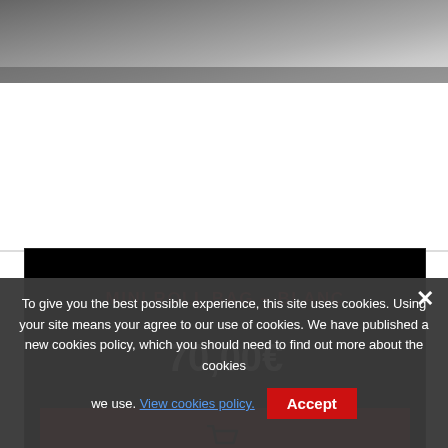[Figure (photo): Top of page showing a dark gray blurred background image (product photography background)]
MINI ROLL BAG - BLANC
70,00€
[Figure (illustration): Red add to cart button with a shopping cart icon]
To give you the best possible experience, this site uses cookies. Using your site means your agree to our use of cookies. We have published a new cookies policy, which you should need to find out more about the cookies we use. View cookies policy.
Accept